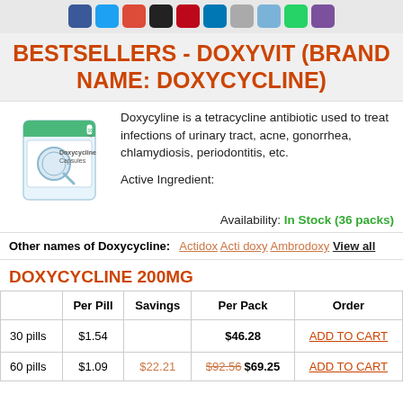Social media icons row
BESTSELLERS - DOXYVIT (BRAND NAME: DOXYCYCLINE)
Doxycyline is a tetracycline antibiotic used to treat infections of urinary tract, acne, gonorrhea, chlamydiosis, periodontitis, etc. Active Ingredient:
Availability: In Stock (36 packs)
Other names of Doxycycline: Actidox  Acti doxy  Ambrodoxy  View all
DOXYCYCLINE 200MG
|  | Per Pill | Savings | Per Pack | Order |
| --- | --- | --- | --- | --- |
| 30 pills | $1.54 |  | $46.28 | ADD TO CART |
| 60 pills | $1.09 | $22.21 | $92.56 $69.25 | ADD TO CART |